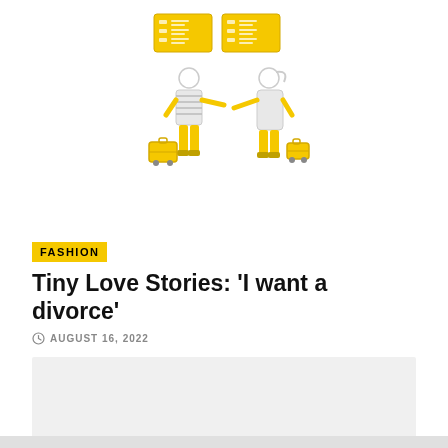[Figure (illustration): Two illustrated figures (a man and a woman) facing each other, each pulling a yellow suitcase. Above them are two yellow document/checklist icons side by side.]
FASHION
Tiny Love Stories: ‘I want a divorce’
AUGUST 16, 2022
[Figure (other): Gray placeholder/ad box]